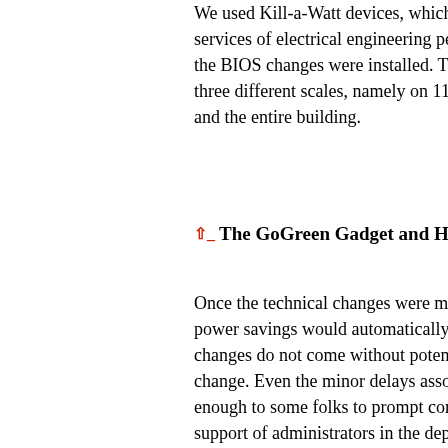We used Kill-a-Watt devices, which m... services of electrical engineering pers... the BIOS changes were installed. The... three different scales, namely on 11 in... and the entire building.
The GoGreen Gadget and Habit C...
Once the technical changes were mac... power savings would automatically be... changes do not come without potentia... change. Even the minor delays associ... enough to some folks to prompt compl... support of administrators in the depart... ways to engage people.
The IT professionals in the SOE were... patching during the day would affect p... standard operating procedures and su... runs at night.
In order to engage the faculty and staf... inform people about the changes, prov... instructions for looking up frequently a... need for information about sustainable... interactive solution. In response to this... gadget. Once someone installs the ga...